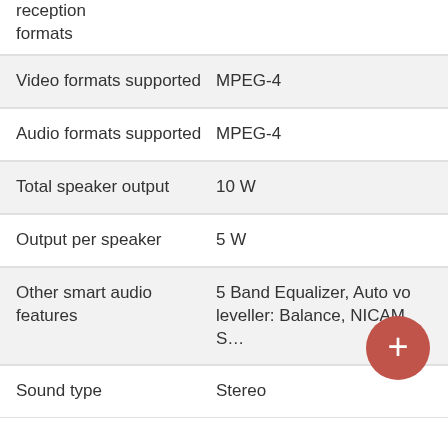| Feature | Value |
| --- | --- |
| reception formats |  |
| Video formats supported | MPEG-4 |
| Audio formats supported | MPEG-4 |
| Total speaker output | 10 W |
| Output per speaker | 5 W |
| Other smart audio features | 5 Band Equalizer, Auto volume leveller: Balance, NICAM Stereo |
| Sound type | Stereo |